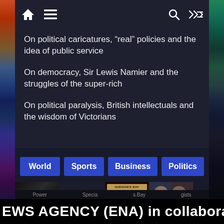Home | Menu | Search | Shuffle navigation bar
On political caricatures, “real” policies and the idea of public service
On democracy, Sir Lewis Namier and the struggles of the super-rich
On political paralysis, British intellectuals and the wisdom of Victorians
World | Sports | Business | Politics
[Figure (screenshot): Thumbnail images row with Tokyo Olympi text and Hudson's Bay store image]
EWS AGENCY (ENA) in collabora